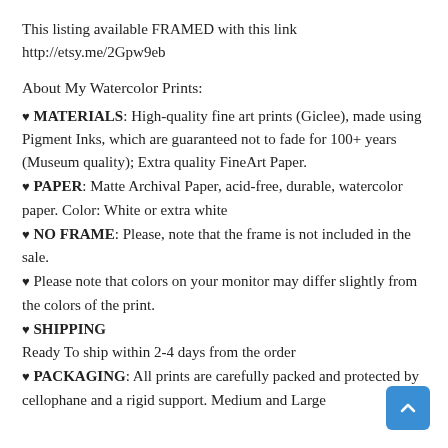This listing available FRAMED with this link
http://etsy.me/2Gpw9eb
About My Watercolor Prints:
♥ MATERIALS: High-quality fine art prints (Giclee), made using Pigment Inks, which are guaranteed not to fade for 100+ years (Museum quality); Extra quality FineArt Paper.
♥ PAPER: Matte Archival Paper, acid-free, durable, watercolor paper. Color: White or extra white
♥ NO FRAME: Please, note that the frame is not included in the sale.
♥ Please note that colors on your monitor may differ slightly from the colors of the print.
♥ SHIPPING
Ready To ship within 2-4 days from the order
♥ PACKAGING: All prints are carefully packed and protected by cellophane and a rigid support. Medium and Large